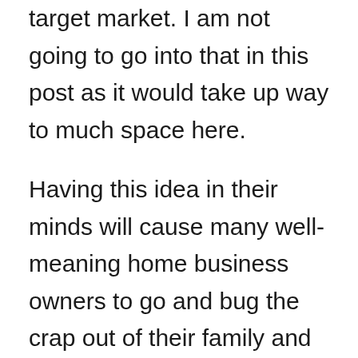This is the process of determining your target market. I am not going to go into that in this post as it would take up way to much space here.
Having this idea in their minds will cause many well-meaning home business owners to go and bug the crap out of their family and friends even though they don't see the value in what they offer as a business.
When I started to really grasp that these two things were hindering me from building my